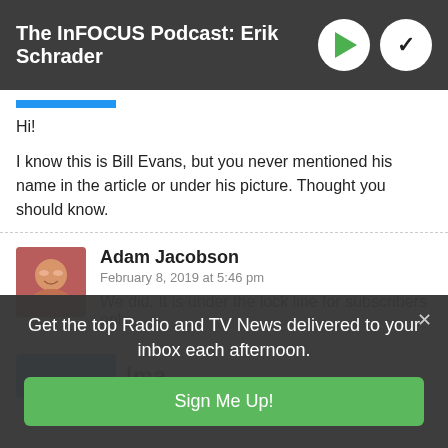The InFOCUS Podcast: Erik Schrader
Hi!
I know this is Bill Evans, but you never mentioned his name in the article or under his picture. Thought you should know.
Adam Jacobson
February 8, 2019 at 5:46 pm
We did. It is under the lock line for subscribers only
Get the top Radio and TV News delivered to your inbox each afternoon.